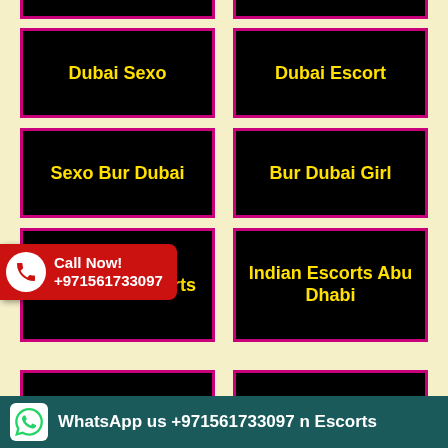[Figure (infographic): Grid of black buttons with yellow text and pink borders on cream background. Buttons include: Dubai Sexo, Dubai Escort, Sexo Bur Dubai, Bur Dubai Girl, Bur Dubai Escorts, Indian Escorts Abu Dhabi, (partially hidden) Girl, Mature Escort Asia, Indian Escorts (partial)]
Call Now! +971561733097
WhatsApp us +971561733097 n Escorts